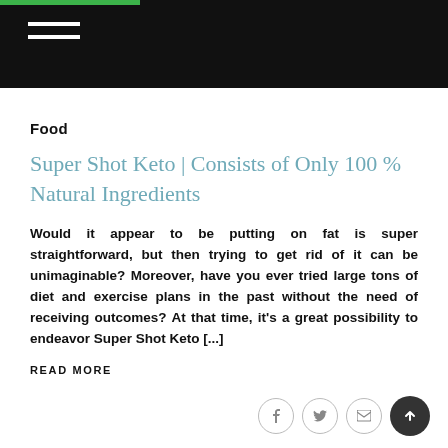Food
Super Shot Keto | Consists of Only 100 % Natural Ingredients
Would it appear to be putting on fat is super straightforward, but then trying to get rid of it can be unimaginable? Moreover, have you ever tried large tons of diet and exercise plans in the past without the need of receiving outcomes? At that time, it’s a great possibility to endeavor Super Shot Keto [...]
READ MORE